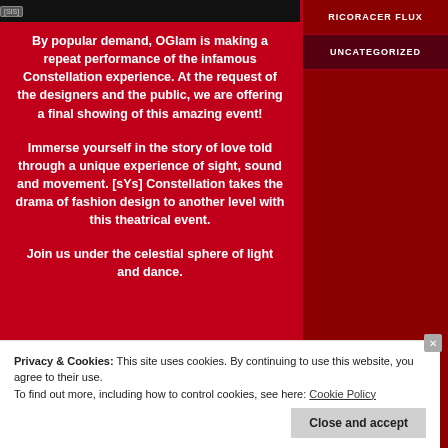[Figure (photo): Top banner image showing dark fashion/dance event with logo badges]
By popular demand, OGlam is making a repeat performance of the infamous Constellation experience. At the request of the designers and the public, we are offering a final showing of this amazing event!
Immerse yourself in the story of love told through a unique experience of sight, sound and movement. [sYs] Constellation takes the drama of fashion design to another level with this theatrical event.
Join us under the celestial sphere of light and dance.
RICORACER FLUX
UNCATEGORIZED
Privacy & Cookies: This site uses cookies. By continuing to use this website, you agree to their use.
To find out more, including how to control cookies, see here: Cookie Policy
Close and accept